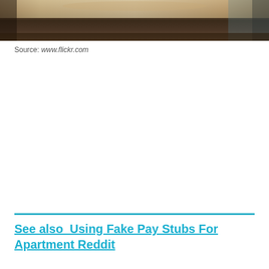[Figure (photo): A panoramic/wide-angle interior room photo showing a ceiling and walls, darkened panoramic shot of what appears to be a room or apartment interior.]
Source: www.flickr.com
See also  Using Fake Pay Stubs For Apartment Reddit